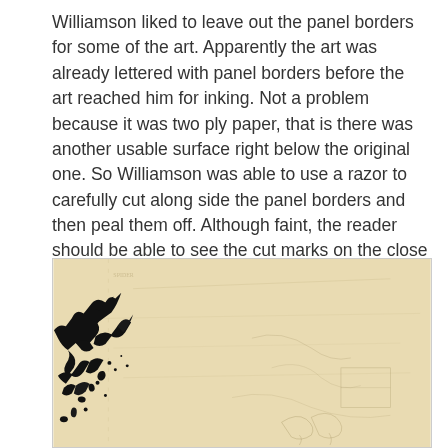Williamson liked to leave out the panel borders for some of the art. Apparently the art was already lettered with panel borders before the art reached him for inking. Not a problem because it was two ply paper, that is there was another usable surface right below the original one. So Williamson was able to use a razor to carefully cut along side the panel borders and then peal them off. Although faint, the reader should be able to see the cut marks on the close up above.
[Figure (photo): A scan or photo of original comic book artwork on aged, cream/yellowish two-ply paper. The left side shows bold black ink marks depicting partial figure(s) in an action pose. The rest of the page shows faint pencil sketches and cut marks on the aged paper surface.]